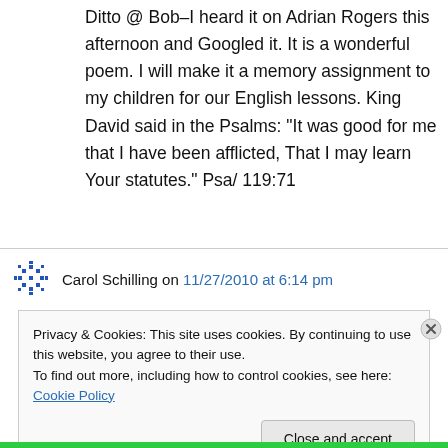Ditto @ Bob–I heard it on Adrian Rogers this afternoon and Googled it. It is a wonderful poem. I will make it a memory assignment to my children for our English lessons. King David said in the Psalms: “It was good for me that I have been afflicted, That I may learn Your statutes.” Psa/ 119:71
Carol Schilling on 11/27/2010 at 6:14 pm
Privacy & Cookies: This site uses cookies. By continuing to use this website, you agree to their use. To find out more, including how to control cookies, see here: Cookie Policy